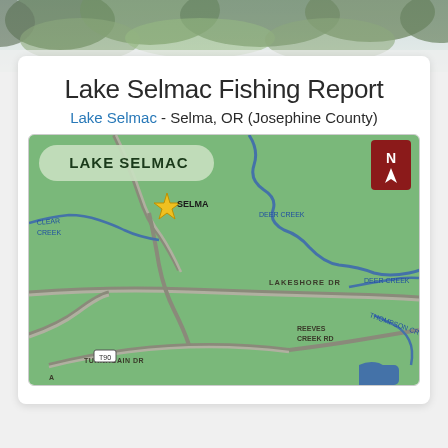[Figure (photo): Forest canopy background photo banner at top of page]
Lake Selmac Fishing Report
Lake Selmac - Selma, OR (Josephine County)
[Figure (map): Map of Lake Selmac area showing Selma, OR with roads including Lakeshore Dr, Turnagain Dr, Reeves Creek Rd, and waterways including Deer Creek, Clear Creek, Thompson Creek, and Selmac Lake. North arrow in upper right corner.]